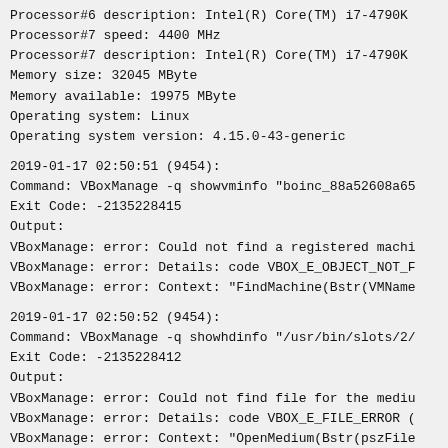Processor#6 description: Intel(R) Core(TM) i7-4790K
Processor#7 speed: 4400 MHz
Processor#7 description: Intel(R) Core(TM) i7-4790K
Memory size: 32045 MByte
Memory available: 19975 MByte
Operating system: Linux
Operating system version: 4.15.0-43-generic
2019-01-17 02:50:51 (9454):
Command: VBoxManage -q showvminfo "boinc_88a52608a65
Exit Code: -2135228415
Output:
VBoxManage: error: Could not find a registered machi
VBoxManage: error: Details: code VBOX_E_OBJECT_NOT_F
VBoxManage: error: Context: "FindMachine(Bstr(VMName
2019-01-17 02:50:52 (9454):
Command: VBoxManage -q showhdinfo "/usr/bin/slots/2/
Exit Code: -2135228412
Output:
VBoxManage: error: Could not find file for the mediu
VBoxManage: error: Details: code VBOX_E_FILE_ERROR (
VBoxManage: error: Context: "OpenMedium(Bstr(pszFile
2019-01-17 02:50:52 (9454):